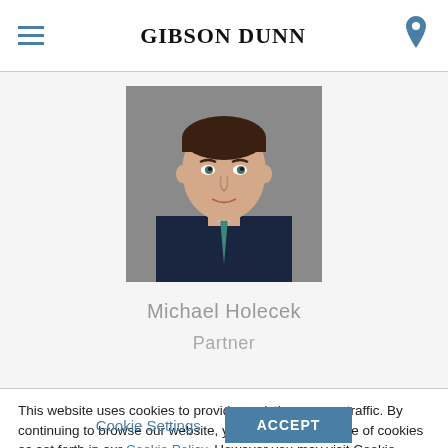GIBSON DUNN
[Figure (photo): Professional headshot of Michael Holecek, a man in a dark suit with a teal tie against a gray background]
Michael Holecek
Partner
This website uses cookies to provide analytics on user traffic. By continuing to browse our website, you consent to our use of cookies as set forth in our Cookie Policy. However you may visit Cookie Settings to customize your consent.
Cookie Settings
ACCEPT